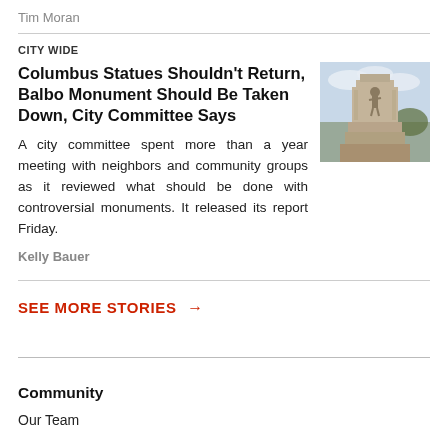Tim Moran
CITY WIDE
Columbus Statues Shouldn't Return, Balbo Monument Should Be Taken Down, City Committee Says
A city committee spent more than a year meeting with neighbors and community groups as it reviewed what should be done with controversial monuments. It released its report Friday.
Kelly Bauer
[Figure (photo): Photo of a monument or statue, showing a stone pedestal structure against a cloudy sky with trees in background]
SEE MORE STORIES →
Community
Our Team